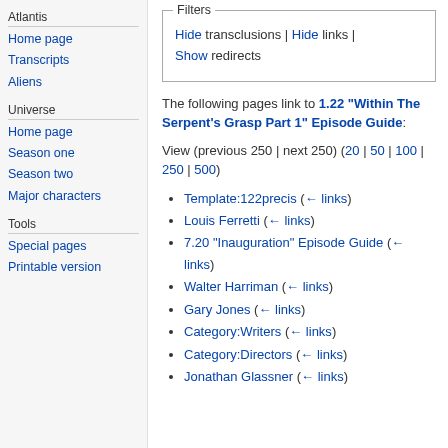Atlantis
Home page
Transcripts
Aliens
Universe
Home page
Season one
Season two
Major characters
Tools
Special pages
Printable version
Filters — Hide transclusions | Hide links | Show redirects
The following pages link to 1.22 "Within The Serpent's Grasp Part 1" Episode Guide:
View (previous 250 | next 250) (20 | 50 | 100 | 250 | 500)
Template:122precis  (← links)
Louis Ferretti  (← links)
7.20 "Inauguration" Episode Guide  (← links)
Walter Harriman  (← links)
Gary Jones  (← links)
Category:Writers  (← links)
Category:Directors  (← links)
Jonathan Glassner  (← links)